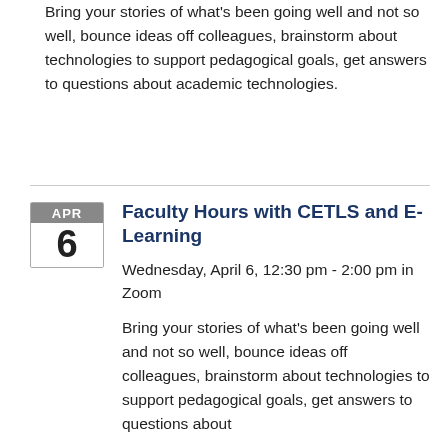Bring your stories of what's been going well and not so well, bounce ideas off colleagues, brainstorm about technologies to support pedagogical goals, get answers to questions about academic technologies.
Faculty Hours with CETLS and E-Learning
Wednesday, April 6, 12:30 pm - 2:00 pm in Zoom
Bring your stories of what's been going well and not so well, bounce ideas off colleagues, brainstorm about technologies to support pedagogical goals, get answers to questions about